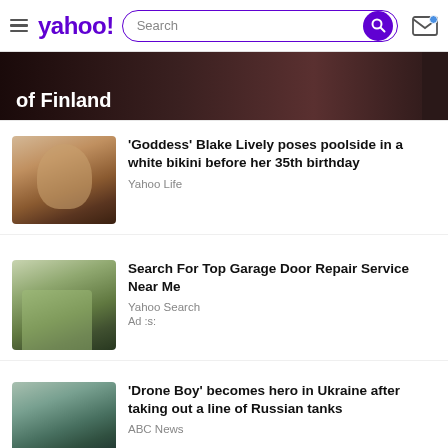yahoo! Search
[Figure (photo): Dark banner with text 'of Finland' visible at bottom left, partially cropped]
'Goddess' Blake Lively poses poolside in a white bikini before her 35th birthday
Yahoo Life
Search For Top Garage Door Repair Service Near Me
Yahoo Search
Ad :s:
'Drone Boy' becomes hero in Ukraine after taking out a line of Russian tanks
ABC News